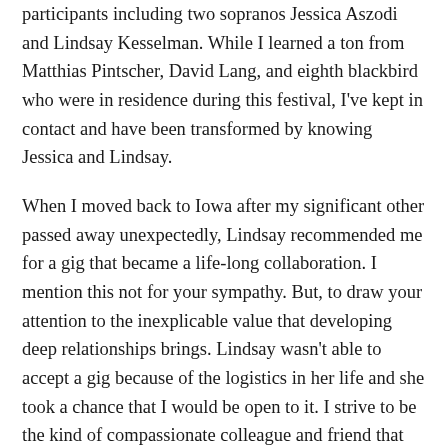participants including two sopranos Jessica Aszodi and Lindsay Kesselman. While I learned a ton from Matthias Pintscher, David Lang, and eighth blackbird who were in residence during this festival, I've kept in contact and have been transformed by knowing Jessica and Lindsay.
When I moved back to Iowa after my significant other passed away unexpectedly, Lindsay recommended me for a gig that became a life-long collaboration. I mention this not for your sympathy. But, to draw your attention to the inexplicable value that developing deep relationships brings. Lindsay wasn't able to accept a gig because of the logistics in her life and she took a chance that I would be open to it. I strive to be the kind of compassionate colleague and friend that Lindsay and Jessica are to me.